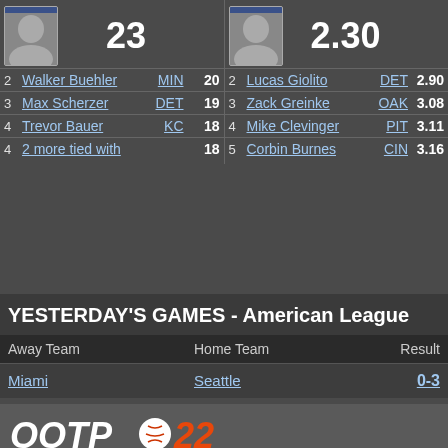23
2.30
| Rank | Player | Team | Val |
| --- | --- | --- | --- |
| 2 | Walker Buehler | MIN | 20 |
| 3 | Max Scherzer | DET | 19 |
| 4 | Trevor Bauer | KC | 18 |
| 4 | 2 more tied with |  | 18 |
| Rank | Player | Team | Val |
| --- | --- | --- | --- |
| 2 | Lucas Giolito | DET | 2.90 |
| 3 | Zack Greinke | OAK | 3.08 |
| 4 | Mike Clevinger | PIT | 3.11 |
| 5 | Corbin Burnes | CIN | 3.16 |
YESTERDAY'S GAMES - American League
| Away Team | Home Team | Result |
| --- | --- | --- |
| Miami | Seattle | 0-3 |
[Figure (logo): OOTP 22 logo with baseball]
Powered by: Out of the Park Developments, the Sunday, December 19